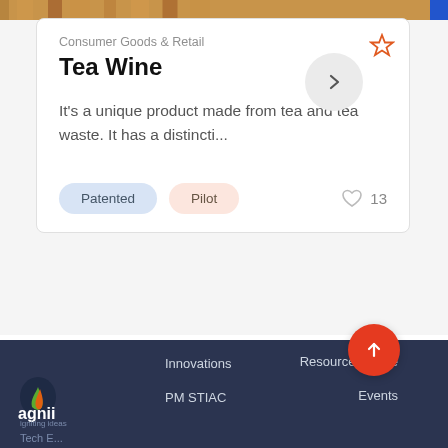[Figure (photo): Top strip showing wooden sticks or pencils in warm brown tones]
Consumer Goods & Retail
Tea Wine
It's a unique product made from tea and tea waste. It has a distincti...
Patented
Pilot
13
[Figure (logo): Agnii logo — orange and green flame with text 'agnii' and 'igniting ideas']
Innovations
PM STIAC
Resource Centre
Events
Tech E...